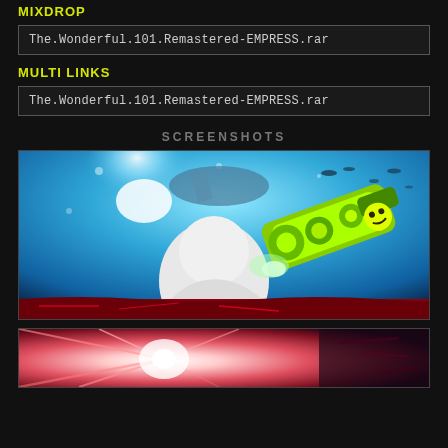MIXDROP
The.Wonderful.101.Remastered-EMPRESS.rar
MULTI LINKS
The.Wonderful.101.Remastered-EMPRESS.rar
SCREENSHOTS
[Figure (screenshot): Action video game screenshot showing a hero character with a green/yellow glowing weapon firing against a blue sky with explosions and debris]
[Figure (screenshot): Action video game screenshot showing a pink/red radial explosion effect with dark debris]